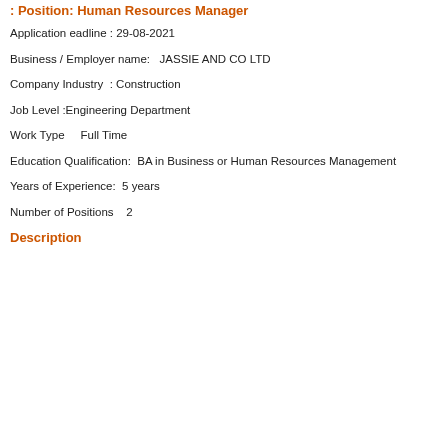Position: Human Resources Manager
Application eadline : 29-08-2021
Business / Employer name:   JASSIE AND CO LTD
Company Industry  : Construction
Job Level :Engineering Department
Work Type     Full Time
Education Qualification:  BA in Business or Human Resources Management
Years of Experience:  5 years
Number of Positions   2
Description